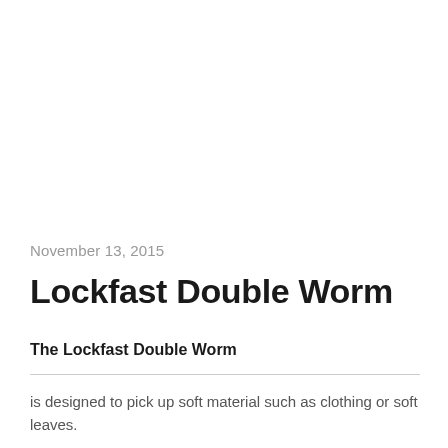November 13, 2015
Lockfast Double Worm
The Lockfast Double Worm
is designed to pick up soft material such as clothing or soft leaves.